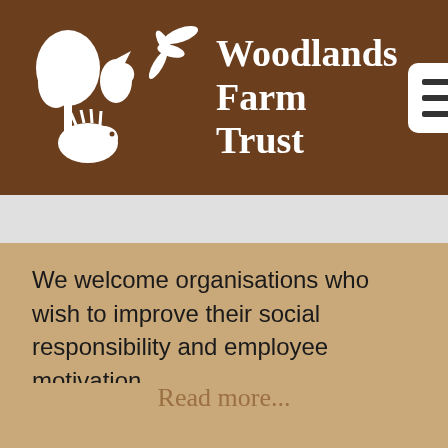[Figure (logo): Woodlands Farm Trust logo: brown header with white silhouettes of a tree, bird, dragonfly, and hedgehog, alongside the text 'Woodlands Farm Trust' and a white hamburger menu button]
We welcome organisations who wish to improve their social responsibility and employee motivation.
Read more...